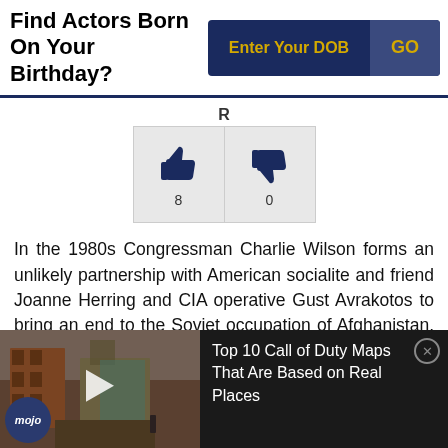Find Actors Born On Your Birthday?
[Figure (infographic): DOB input bar with 'Enter Your DOB' field and 'GO' button on dark navy background]
[Figure (infographic): Rating section showing R label, thumbs up icon with count 8 and thumbs down icon with count 0]
In the 1980s Congressman Charlie Wilson forms an unlikely partnership with American socialite and friend Joanne Herring and CIA operative Gust Avrakotos to bring an end to the Soviet occupation of Afghanistan. His efforts also lead to the formation of the Regan Doctrine which supported anti-communist resistance all over the world.
[Figure (screenshot): Video thumbnail showing destroyed buildings with play button and mojo logo, beside black panel with text 'Top 10 Call of Duty Maps That Are Based on Real Places' and close button]